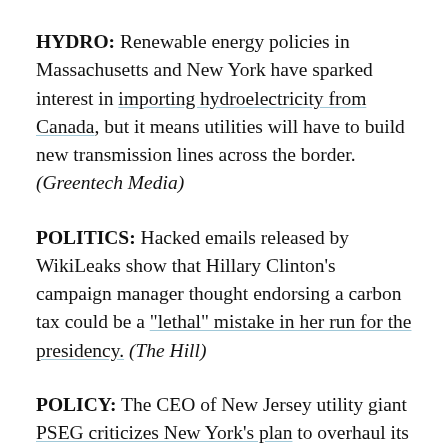HYDRO: Renewable energy policies in Massachusetts and New York have sparked interest in importing hydroelectricity from Canada, but it means utilities will have to build new transmission lines across the border. (Greentech Media)
POLITICS: Hacked emails released by WikiLeaks show that Hillary Clinton’s campaign manager thought endorsing a carbon tax could be a “lethal” mistake in her run for the presidency. (The Hill)
POLICY: The CEO of New Jersey utility giant PSEG criticizes New York’s plan to overhaul its energy grid. (Politico)